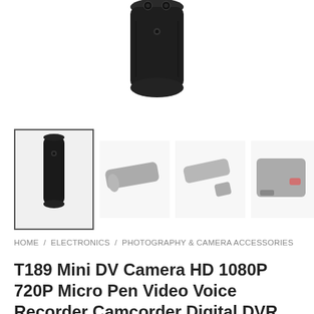[Figure (photo): Close-up top view of a black mini DV pen camera device showing buttons on top]
[Figure (photo): Thumbnail gallery row showing four views of the T189 mini DV pen camera: front view selected (black), side angle view, angled view with cap removed, and block/battery view]
HOME / ELECTRONICS / PHOTOGRAPHY & CAMERA ACCESSORIES
T189 Mini DV Camera HD 1080P 720P Micro Pen Video Voice Recorder Camcorder Digital DVR